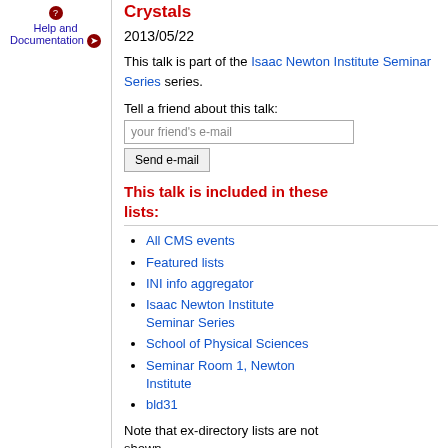Help and Documentation
Crystals
2013/05/22
This talk is part of the Isaac Newton Institute Seminar Series series.
Tell a friend about this talk:
This talk is included in these lists:
All CMS events
Featured lists
INI info aggregator
Isaac Newton Institute Seminar Series
School of Physical Sciences
Seminar Room 1, Newton Institute
bld31
Note that ex-directory lists are not shown.